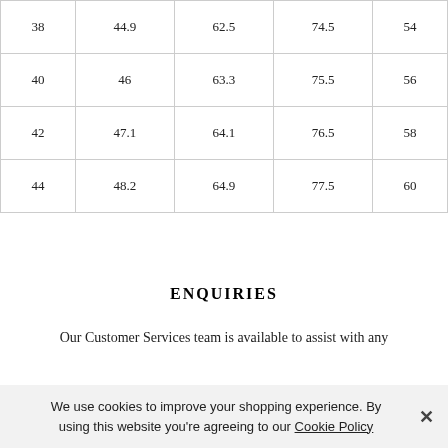| 38 | 44.9 | 62.5 | 74.5 | 54 |
| 40 | 46 | 63.3 | 75.5 | 56 |
| 42 | 47.1 | 64.1 | 76.5 | 58 |
| 44 | 48.2 | 64.9 | 77.5 | 60 |
ENQUIRIES
Our Customer Services team is available to assist with any
We use cookies to improve your shopping experience. By using this website you're agreeing to our Cookie Policy